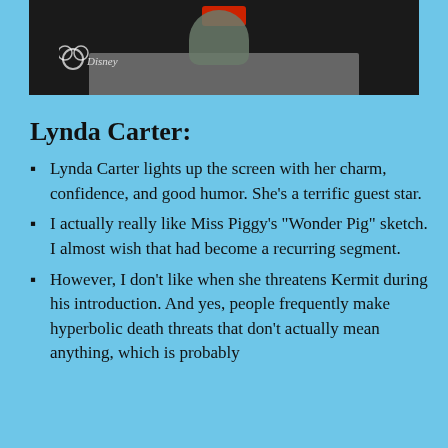[Figure (screenshot): A dark screenshot showing what appears to be a Muppet character with a Disney channel watermark/logo in the lower left, and a red play button visible at the top center.]
Lynda Carter:
Lynda Carter lights up the screen with her charm, confidence, and good humor. She’s a terrific guest star.
I actually really like Miss Piggy’s “Wonder Pig” sketch. I almost wish that had become a recurring segment.
However, I don’t like when she threatens Kermit during his introduction. And yes, people frequently make hyperbolic death threats that don’t actually mean anything, which is probably